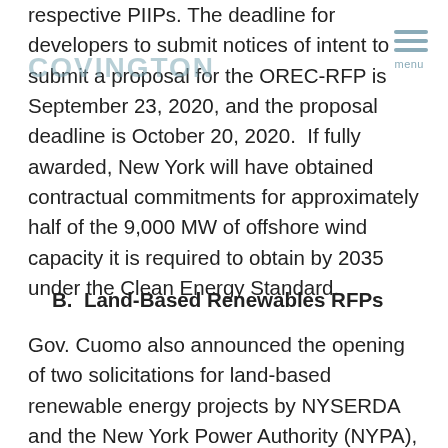COVINGTON | menu
respective PIIPs. The deadline for developers to submit notices of intent to submit a proposal for the OREC-RFP is September 23, 2020, and the proposal deadline is October 20, 2020.  If fully awarded, New York will have obtained contractual commitments for approximately half of the 9,000 MW of offshore wind capacity it is required to obtain by 2035 under the Clean Energy Standard.
B.  Land-Based Renewables RFPs
Gov. Cuomo also announced the opening of two solicitations for land-based renewable energy projects by NYSERDA and the New York Power Authority (NYPA), respectively.  NYERDA's solicitation, RECRFP20-1 (REC-RFP) seeks